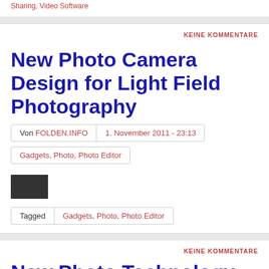Sharing, Video Software
KEINE KOMMENTARE
New Photo Camera Design for Light Field Photography
Von FOLDEN.INFO | 1. November 2011 - 23:13
Gadgets, Photo, Photo Editor
[Figure (photo): Small dark thumbnail image]
Tagged Gadgets, Photo, Photo Editor
KEINE KOMMENTARE
New Photo Technology
Von FOLDEN.INFO | 23. Juni 2011 - 20:18